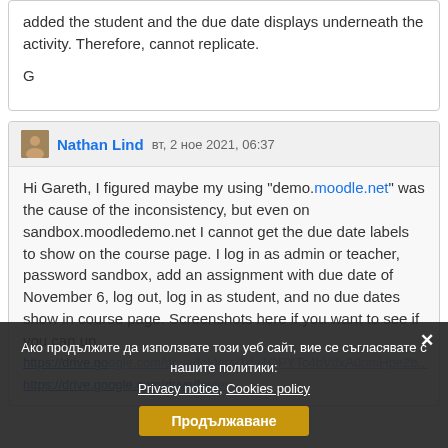added the student and the due date displays underneath the activity. Therefore, cannot replicate.

G
Nathan Lind  вт, 2 ное 2021, 06:37
Hi Gareth, I figured maybe my using "demo.moodle.net" was the cause of the inconsistency, but even on sandbox.moodledemo.net I cannot get the due date labels to show on the course page. I log in as admin or teacher, password sandbox, add an assignment with due date of November 6, log out, log in as student, and no due dates show in course page. Screenshots here if you want to see if you can up
https://drive.google.com/drive/folders/1da1OPYTc4bVdxA0nmHpe2b...
https://drive.google.com/drive/folders/...
Ако продължите да използвате този уеб сайт, вие се съгласявате с нашите политики:
Privacy notice, Cookies policy
Продължаване